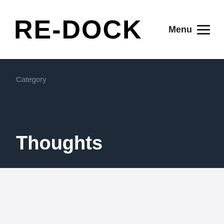RE-DOCK  Menu
Category
Thoughts